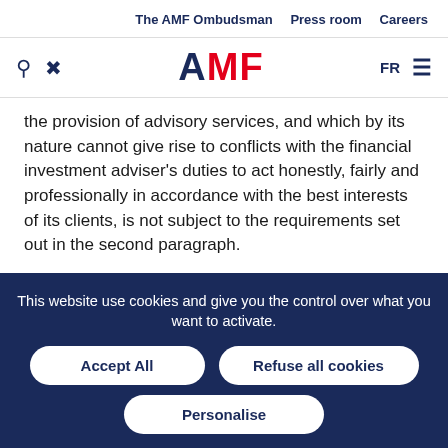The AMF Ombudsman   Press room   Careers
[Figure (logo): AMF logo with search and close icons on left, FR language selector and hamburger menu on right]
the provision of advisory services, and which by its nature cannot give rise to conflicts with the financial investment adviser's duties to act honestly, fairly and professionally in accordance with the best interests of its clients, is not subject to the requirements set out in the second paragraph.
II. - Financial investment advisers shall apply the provisions of Articles 314-13 to 314-20.
This website use cookies and give you the control over what you want to activate.
Accept All
Refuse all cookies
Personalise